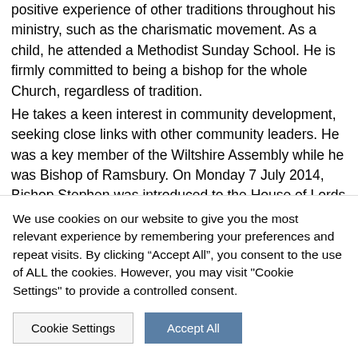positive experience of other traditions throughout his ministry, such as the charismatic movement. As a child, he attended a Methodist Sunday School. He is firmly committed to being a bishop for the whole Church, regardless of tradition.
He takes a keen interest in community development, seeking close links with other community leaders. He was a key member of the Wiltshire Assembly while he was Bishop of Ramsbury. On Monday 7 July 2014, Bishop Stephen was introduced to the House of Lords and took his seat as one of the 26 Lords Spiritual.
We use cookies on our website to give you the most relevant experience by remembering your preferences and repeat visits. By clicking “Accept All”, you consent to the use of ALL the cookies. However, you may visit "Cookie Settings" to provide a controlled consent.